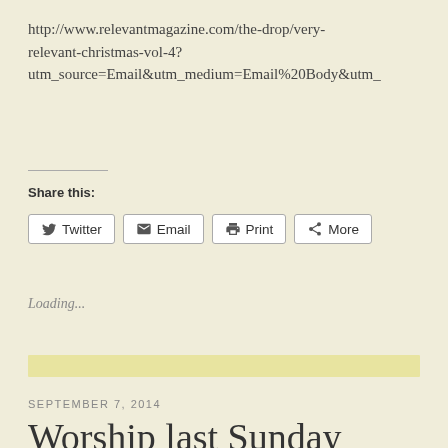http://www.relevantmagazine.com/the-drop/very-relevant-christmas-vol-4?utm_source=Email&utm_medium=Email%20Body&utm_
Share this:
Twitter  Email  Print  More
Loading...
SEPTEMBER 7, 2014
Worship last Sunday at Bethel Redding